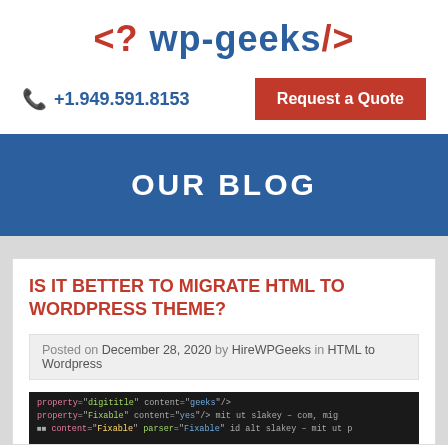[Figure (logo): WP-Geeks logo with red angle-bracket question mark and blue wp-geeks text in angle brackets]
+1.949.591.8153
Request a Quote
OUR BLOG
IS IT BETTER TO MIGRATE HTML TO WORDPRESS THEME?
Posted on December 28, 2020 by HireWPGeeks in HTML to Wordpress
[Figure (screenshot): Dark background code editor screenshot showing colorful HTML/PHP code lines]